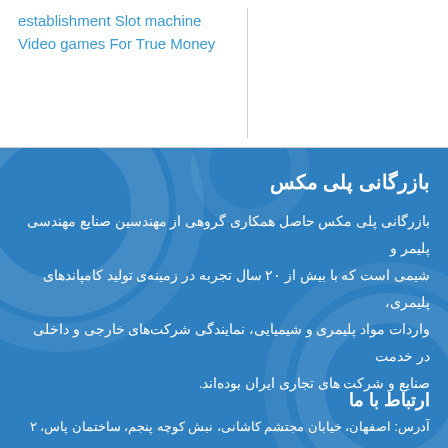establishment Slot machine
Video games For True Money
بازرگانی پلی مکس
بازرگانی پلی مکس حاصل همکاری گروهی از مهندسین صنایع مهندسی پلیمر و شیمی است که با بیش از ۲۰ سال تجربه در زمینه‌ی تولید کامپاندهای پلیمری، واردات مواد پلیمری و شیمیایی، نمایندگی شرکت‌های خارجی و داخلی در خدمت صنایع و شرکت های تجاری ایران بوده‌اند.
ارتباط با ما
آدرس: اصفهان، خیابان مجتشم کاشانی، نبش کوچه پنجم، ساختمان پاس، ۲